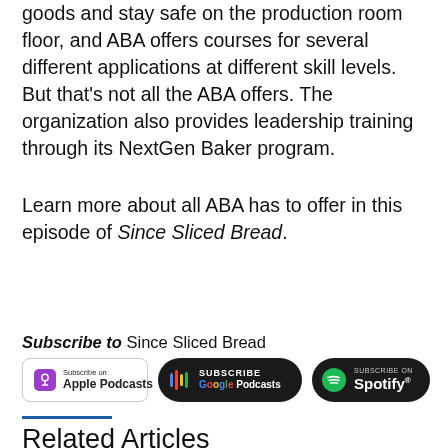goods and stay safe on the production room floor, and ABA offers courses for several different applications at different skill levels. But that's not all the ABA offers. The organization also provides leadership training through its NextGen Baker program.
Learn more about all ABA has to offer in this episode of Since Sliced Bread.
PAST EPISODES
Subscribe to Since Sliced Bread
[Figure (logo): Apple Podcasts subscribe badge]
[Figure (logo): Google Podcasts subscribe badge]
[Figure (logo): Spotify subscribe badge]
Related Articles